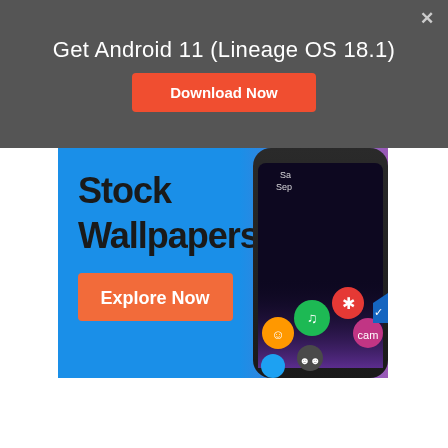Get Android 11 (Lineage OS 18.1)
Download Now
[Figure (screenshot): Advertisement banner showing Stock Wallpapers with an Explore Now button and a smartphone displaying app icons including Spotify, Instagram and others on a dark screen with purple/blue gradient background.]